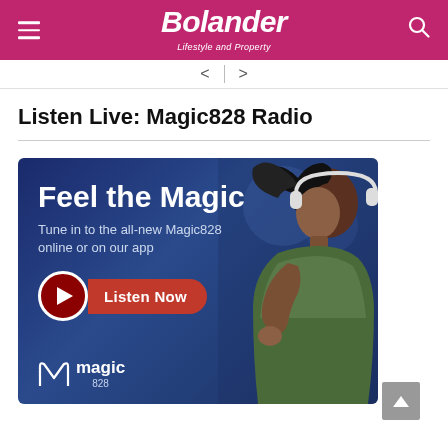Bolander Lifestyle and Property
Listen Live: Magic828 Radio
[Figure (illustration): Magic828 Radio advertisement banner showing a woman with headphones on a dark blue background with 'Feel the Magic' headline, 'Tune in to the all-new Magic828 online or on our app' subtext, a red Listen Now button with play icon, and Magic 828 logo at bottom left.]